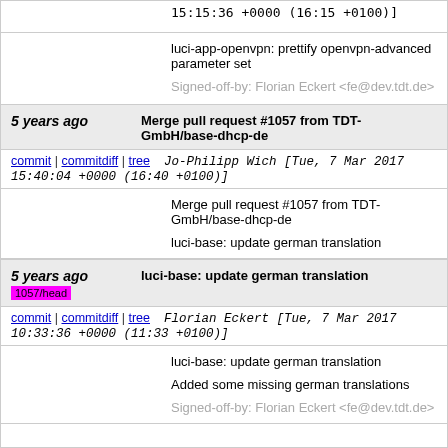15:15:36 +0000 (16:15 +0100)]
luci-app-openvpn: prettify openvpn-advanced parameter set

Signed-off-by: Florian Eckert <fe@dev.tdt.de>
5 years ago  Merge pull request #1057 from TDT-GmbH/base-dhcp-de
commit | commitdiff | tree   Jo-Philipp Wich [Tue, 7 Mar 2017 15:40:04 +0000 (16:40 +0100)]
Merge pull request #1057 from TDT-GmbH/base-dhcp-de

luci-base: update german translation
5 years ago  luci-base: update german translation
1057/head
commit | commitdiff | tree   Florian Eckert [Tue, 7 Mar 2017 10:33:36 +0000 (11:33 +0100)]
luci-base: update german translation

Added some missing german translations

Signed-off-by: Florian Eckert <fe@dev.tdt.de>